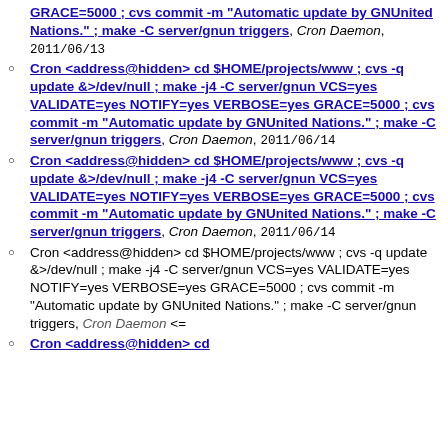Cron <address@hidden> cd $HOME/projects/www ; cvs -q update &>/dev/null ; make -j4 -C server/gnun VCS=yes VALIDATE=yes NOTIFY=yes VERBOSE=yes GRACE=5000 ; cvs commit -m "Automatic update by GNUnited Nations." ; make -C server/gnun triggers, Cron Daemon, 2011/06/13 (continuation at top)
Cron <address@hidden> cd $HOME/projects/www ; cvs -q update &>/dev/null ; make -j4 -C server/gnun VCS=yes VALIDATE=yes NOTIFY=yes VERBOSE=yes GRACE=5000 ; cvs commit -m "Automatic update by GNUnited Nations." ; make -C server/gnun triggers, Cron Daemon, 2011/06/14
Cron <address@hidden> cd $HOME/projects/www ; cvs -q update &>/dev/null ; make -j4 -C server/gnun VCS=yes VALIDATE=yes NOTIFY=yes VERBOSE=yes GRACE=5000 ; cvs commit -m "Automatic update by GNUnited Nations." ; make -C server/gnun triggers, Cron Daemon, 2011/06/14
Cron <address@hidden> cd $HOME/projects/www ; cvs -q update &>/dev/null ; make -j4 -C server/gnun VCS=yes VALIDATE=yes NOTIFY=yes VERBOSE=yes GRACE=5000 ; cvs commit -m "Automatic update by GNUnited Nations." ; make -C server/gnun triggers, Cron Daemon <=
Cron <address@hidden> cd (partial, cut off)